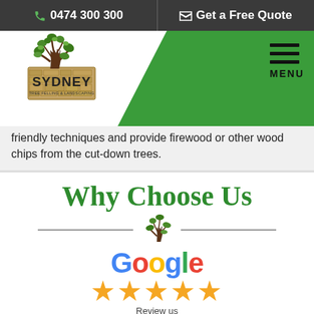0474 300 300 | Get a Free Quote
[Figure (logo): Sydney Tree Felling & Landscaping logo with tree illustration]
[Figure (other): Hamburger menu icon with MENU label]
friendly techniques and provide firewood or other wood chips from the cut-down trees.
Why Choose Us
[Figure (other): Decorative divider with tree icon between two horizontal lines]
[Figure (other): Google 5-star review badge with stars and 'Review us' text]
[Figure (other): Yelp badge and Facebook 5-star review badge side by side, with phone call circle button]